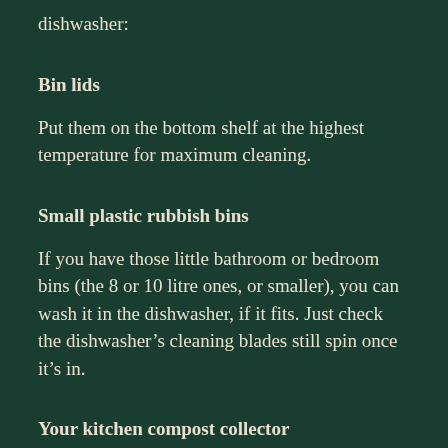dishwasher:
Bin lids
Put them on the bottom shelf at the highest temperature for maximum cleaning.
Small plastic rubbish bins
If you have those little bathroom or bedroom bins (the 8 or 10 litre ones, or smaller), you can wash it in the dishwasher, if it fits. Just check the dishwasher’s cleaning blades still spin once it’s in.
Your kitchen compost collector